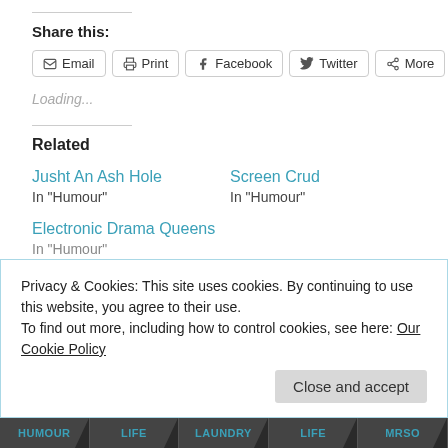Share this:
[Figure (screenshot): Social share buttons: Email, Print, Facebook, Twitter, More]
Loading...
Related
Jusht An Ash Hole
In "Humour"
Screen Crud
In "Humour"
Electronic Drama Queens
In "Humour"
Privacy & Cookies: This site uses cookies. By continuing to use this website, you agree to their use.
To find out more, including how to control cookies, see here: Our Cookie Policy
Close and accept
HUMOUR  LIFE  LAUNDRY  LIFE  MrSO